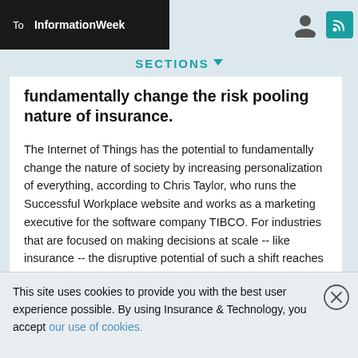To InformationWeek
SECTIONS
fundamentally change the risk pooling nature of insurance.
The Internet of Things has the potential to fundamentally change the nature of society by increasing personalization of everything, according to Chris Taylor, who runs the Successful Workplace website and works as a marketing executive for the software company TIBCO. For industries that are focused on making decisions at scale -- like insurance -- the disruptive potential of such a shift reaches deep into the business, he says.
“Traditionally for insurance, the past was the
This site uses cookies to provide you with the best user experience possible. By using Insurance & Technology, you accept our use of cookies.